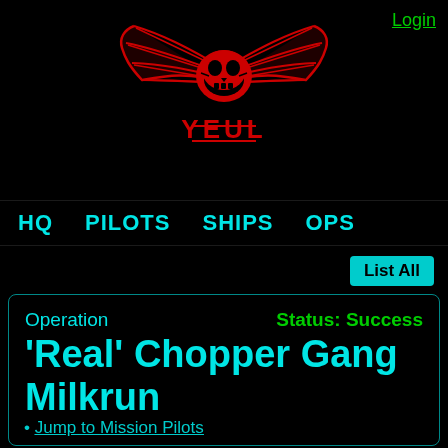[Figure (logo): Red winged skull logo with stylized 'YEUL' text below, on black background]
Login
HQ  PILOTS  SHIPS  OPS
List All
Operation  Status: Success
'Real' Chopper Gang Milkrun
Jump to Mission Pilots